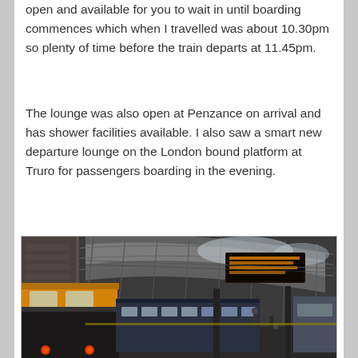open and available for you to wait in until boarding commences which when I travelled was about 10.30pm so plenty of time before the train departs at 11.45pm.
The lounge was also open at Penzance on arrival and has shower facilities available. I also saw a smart new departure lounge on the London bound platform at Truro for passengers boarding in the evening.
[Figure (photo): Interior of a train station with a large arched glass roof. A yellow and black diesel locomotive is on the left platform, with passengers and another modern train visible further along the platform. An orange digital departure board is visible in the upper right.]